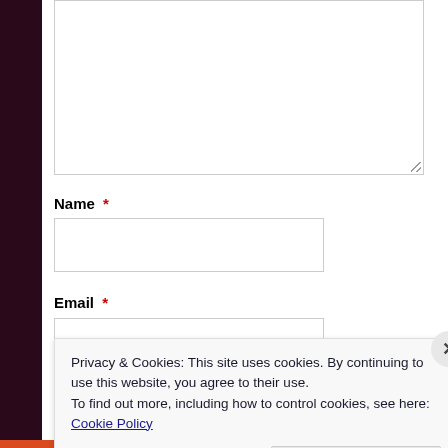[Figure (screenshot): A web form with a large textarea at the top (partially visible), a Name field with red asterisk and text input box, and an Email field with red asterisk and text input box partially visible.]
Name *
Email *
Privacy & Cookies: This site uses cookies. By continuing to use this website, you agree to their use.
To find out more, including how to control cookies, see here: Cookie Policy
Close and accept